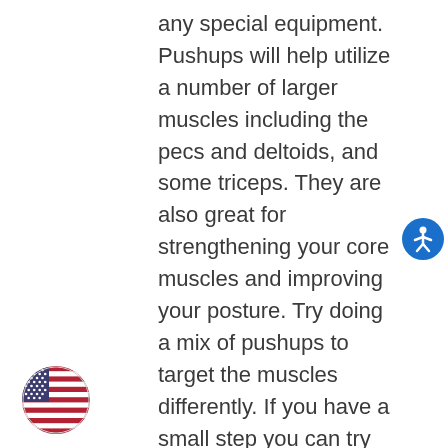any special equipment.  Pushups will help utilize a number of larger muscles including the pecs and deltoids, and some triceps. They are also great for strengthening your core muscles and improving your posture. Try doing a mix of pushups to target the muscles differently. If you have a small step you can try incline and decline pushups. Also wide grip and narrow grip (military), and if you're feeling like a show off, one arm! A chair is the perfect tool for a set of tricep dips. Raise a leg in the air if you want to make it a little harder on yourself.
[Figure (illustration): Blue circular accessibility icon button with white wheelchair person symbol]
[Figure (illustration): Circular US flag icon showing stars and red/white stripes]